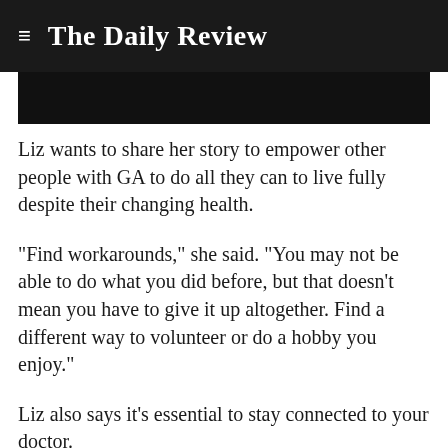The Daily Review
[Figure (photo): Dark/black image placeholder at top of article]
Liz wants to share her story to empower other people with GA to do all they can to live fully despite their changing health.
"Find workarounds," she said. "You may not be able to do what you did before, but that doesn't mean you have to give it up altogether. Find a different way to volunteer or do a hobby you enjoy."
Liz also says it's essential to stay connected to your doctor.
"See your doctor regularly. Listen to your doctor